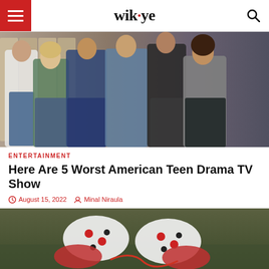wikye
[Figure (photo): Group of teenage actors standing in a school hallway with lockers in the background, promotional photo for a teen drama TV show]
ENTERTAINMENT
Here Are 5 Worst American Teen Drama TV Show
August 15, 2022   Minal Niraula
[Figure (photo): Close-up photo of patterned socks/shoes on grass, partially visible]